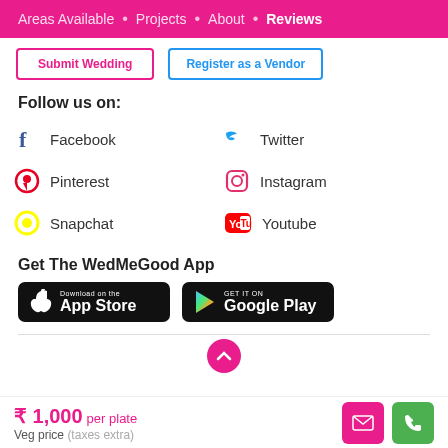Areas Available • Projects • About • Reviews
Submit Wedding | Register as a Vendor
Follow us on:
Facebook
Twitter
Pinterest
Instagram
Snapchat
Youtube
Get The WedMeGood App
[Figure (screenshot): Download on the App Store button]
[Figure (screenshot): Get it on Google Play button]
₹ 1,000 per plate
Veg price (taxes extra)